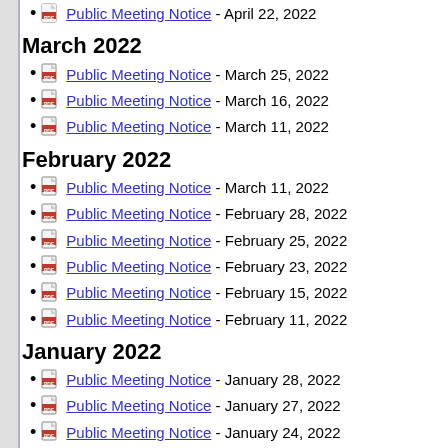Public Meeting Notice - April 22, 2022
March 2022
Public Meeting Notice - March 25, 2022
Public Meeting Notice - March 16, 2022
Public Meeting Notice - March 11, 2022
February 2022
Public Meeting Notice - March 11, 2022
Public Meeting Notice - February 28, 2022
Public Meeting Notice - February 25, 2022
Public Meeting Notice - February 23, 2022
Public Meeting Notice - February 15, 2022
Public Meeting Notice - February 11, 2022
January 2022
Public Meeting Notice - January 28, 2022
Public Meeting Notice - January 27, 2022
Public Meeting Notice - January 24, 2022
Public Meeting Notice - January 18, 2022